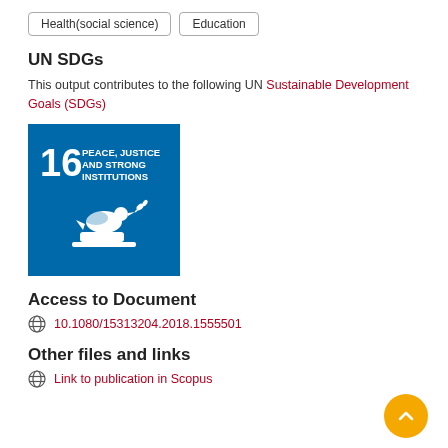Health(social science)
Education
UN SDGs
This output contributes to the following UN Sustainable Development Goals (SDGs)
[Figure (logo): UN SDG 16 badge - Peace, Justice and Strong Institutions - blue square with white dove and text]
Access to Document
10.1080/15313204.2018.1555501
Other files and links
Link to publication in Scopus